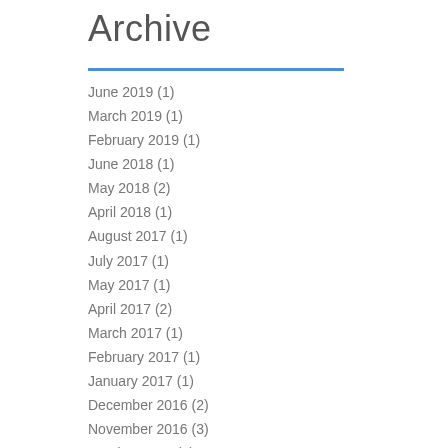Archive
June 2019 (1)
March 2019 (1)
February 2019 (1)
June 2018 (1)
May 2018 (2)
April 2018 (1)
August 2017 (1)
July 2017 (1)
May 2017 (1)
April 2017 (2)
March 2017 (1)
February 2017 (1)
January 2017 (1)
December 2016 (2)
November 2016 (3)
October 2016 (1)
September 2016 (4)
August 2016 (2)